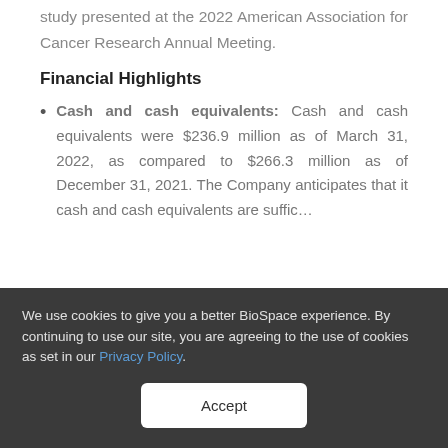study presented at the 2022 American Association for Cancer Research Annual Meeting.
Financial Highlights
Cash and cash equivalents: Cash and cash equivalents were $236.9 million as of March 31, 2022, as compared to $266.3 million as of December 31, 2021. The Company anticipates that its cash and cash equivalents are sufficient
We use cookies to give you a better BioSpace experience. By continuing to use our site, you are agreeing to the use of cookies as set in our Privacy Policy.